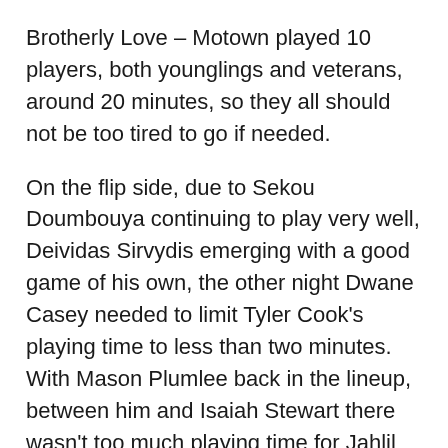Brotherly Love – Motown played 10 players, both younglings and veterans, around 20 minutes, so they all should not be too tired to go if needed.
On the flip side, due to Sekou Doumbouya continuing to play very well, Deividas Sirvydis emerging with a good game of his own, the other night Dwane Casey needed to limit Tyler Cook's playing time to less than two minutes. With Mason Plumlee back in the lineup, between him and Isaiah Stewart there wasn't too much playing time for Jahlil Okafor, who two nights before showed he still has something left in the tank. With Killian Hayes back in the roster, between him and Cory Joseph there wasn't enough time for Saben Lee. And there are still Josh Jackson and Hamidou Diallo, who didn't play against Sixers and might be now ready to do so.